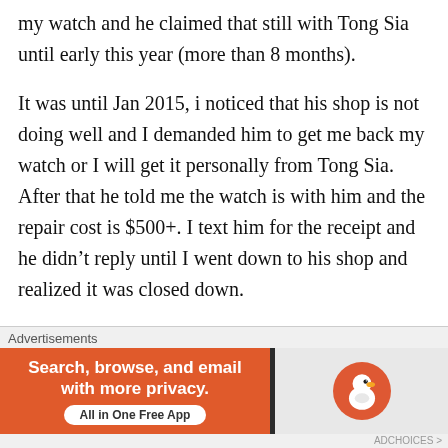my watch and he claimed that still with Tong Sia until early this year (more than 8 months).
It was until Jan 2015, i noticed that his shop is not doing well and I demanded him to get me back my watch or I will get it personally from Tong Sia. After that he told me the watch is with him and the repair cost is $500+. I text him for the receipt and he didn't reply until I went down to his shop and realized it was closed down.
I immediately called him and he told me that my watch is already packed into the cartons and its with in a relative's place and they have went
Advertisements
[Figure (other): DuckDuckGo advertisement banner: orange background with text 'Search, browse, and email with more privacy. All in One Free App' and DuckDuckGo duck logo on dark right panel.]